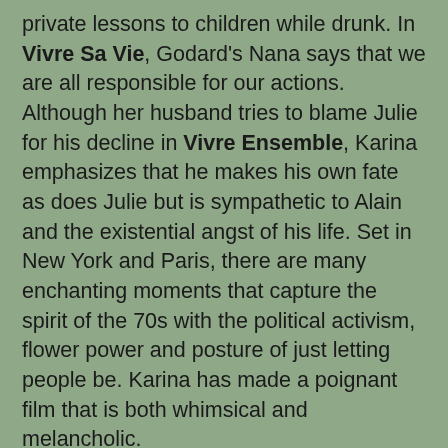private lessons to children while drunk. In Vivre Sa Vie, Godard's Nana says that we are all responsible for our actions. Although her husband tries to blame Julie for his decline in Vivre Ensemble, Karina emphasizes that he makes his own fate as does Julie but is sympathetic to Alain and the existential angst of his life. Set in New York and Paris, there are many enchanting moments that capture the spirit of the 70s with the political activism, flower power and posture of just letting people be. Karina has made a poignant film that is both whimsical and melancholic. Anna Karina was honored with a retrospective of films at Créteil this year which includes the first one that she made at 14 in Denmark: Pigen og Skoene - the Girl with the Shoes (11', 1959). The director IB Schmedes noticed Anna on the street dancing and singing. The film won a prize at Cannes at 1959 as the best short. Pigen og Skoene features a tall and very mature Anna sporting a pony tail who spots a pair of high heels that she wants to wear on a date. The shoes cause great pain for her feet and make her late. So her comfortable pumps catch up with her so that she can run to meet her boyfriend. In this film, Anna Karina, born Hanne Karin Bayer in Copenhagen Denmark in 1940, shows how